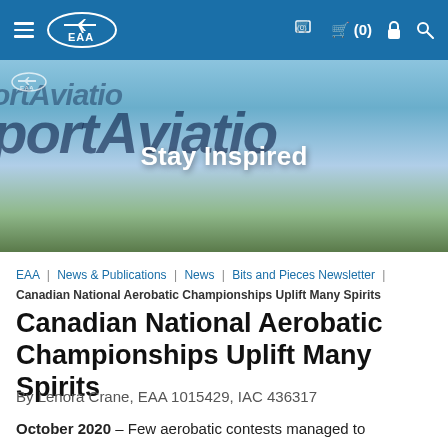EAA navigation bar with hamburger menu, EAA logo, cart (0), lock, and search icons
[Figure (photo): Hero banner image showing EAA Sport Aviation magazine cover text in the background with sky and trees, overlaid with white text 'Stay Inspired']
EAA | News & Publications | News | Bits and Pieces Newsletter | Canadian National Aerobatic Championships Uplift Many Spirits
Canadian National Aerobatic Championships Uplift Many Spirits
By Lenora Crane, EAA 1015429, IAC 436317
October 2020 – Few aerobatic contests managed to